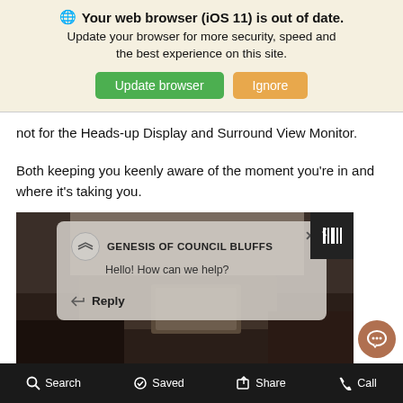[Figure (screenshot): Browser update banner with globe icon, bold title 'Your web browser (iOS 11) is out of date.', subtitle text, and two buttons: green 'Update browser' and orange 'Ignore']
not for the Heads-up Display and Surround View Monitor.
Both keeping you keenly aware of the moment you're in and where it's taking you.
[Figure (screenshot): Car interior image with a chat popup overlay showing 'GENESIS OF COUNCIL BLUFFS' and 'Hello! How can we help?' with a Reply button]
Search  Saved  Share  Call